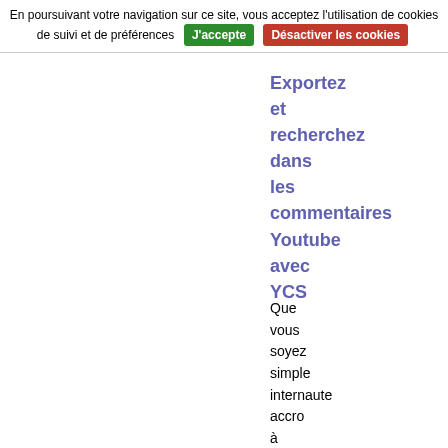En poursuivant votre navigation sur ce site, vous acceptez l'utilisation de cookies de suivi et de préférences  J'accepte  Désactiver les cookies
Exportez et recherchez dans les commentaires Youtube avec YCS
Que vous soyez simple internaute accro à Youtube ou créateur de vidéos sur la plateforme, cette extension pour Chrome / Edge va vraiment vous plaire